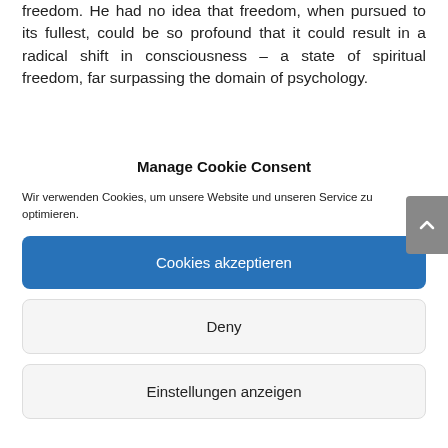freedom. He had no idea that freedom, when pursued to its fullest, could be so profound that it could result in a radical shift in consciousness – a state of spiritual freedom, far surpassing the domain of psychology.
Manage Cookie Consent
Wir verwenden Cookies, um unsere Website und unseren Service zu optimieren.
Cookies akzeptieren
Deny
Einstellungen anzeigen